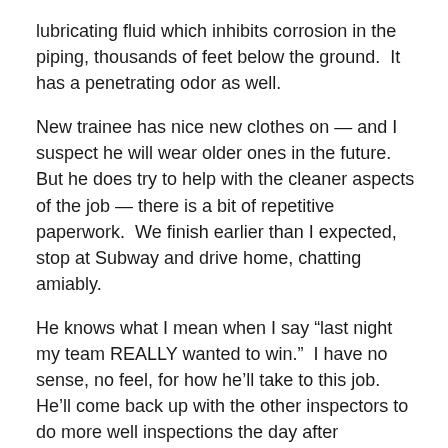lubricating fluid which inhibits corrosion in the piping, thousands of feet below the ground.  It has a penetrating odor as well.
New trainee has nice new clothes on — and I suspect he will wear older ones in the future.  But he does try to help with the cleaner aspects of the job — there is a bit of repetitive paperwork.  We finish earlier than I expected, stop at Subway and drive home, chatting amiably.
He knows what I mean when I say “last night my team REALLY wanted to win.”  I have no sense, no feel, for how he’ll take to this job.  He’ll come back up with the other inspectors to do more well inspections the day after tomorrow.  I would have come back up, but the job I had scheduled tomorrow might go two days.